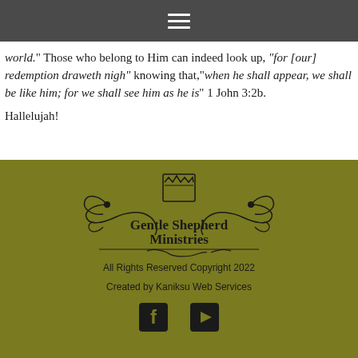world.” Those who belong to Him can indeed look up, “for [our] redemption draweth nigh” knowing that,“when he shall appear, we shall be like him; for we shall see him as he is” 1 John 3:2b.
Hallelujah!
[Figure (logo): Gentle Shepherd Ministries logo with decorative scrollwork and crown shield emblem]
All Rights Reserved Copyright 2022
Created by Kaniksu Web Services